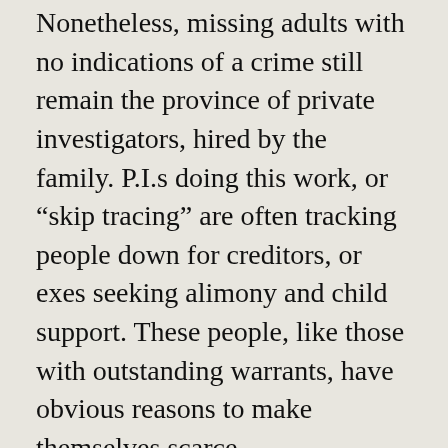Nonetheless, missing adults with no indications of a crime still remain the province of private investigators, hired by the family. P.I.s doing this work, or “skip tracing” are often tracking people down for creditors, or exes seeking alimony and child support. These people, like those with outstanding warrants, have obvious reasons to make themselves scarce.
Even now, only the biggest police forces have dedicated missing persons units—it is something in which most police receive no formal training. Law enforcement agencies are still regularly castigated by anxious families, for not doing “enough” to find missing adults. However, agencies being best dealt with...